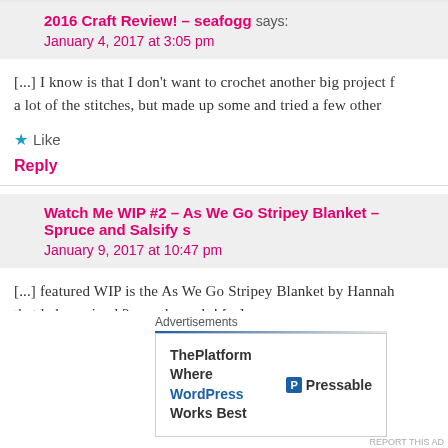2016 Craft Review! – seafogg says: January 4, 2017 at 3:05 pm
[...] I know is that I don't want to crochet another big project f a lot of the stitches, but made up some and tried a few other
Like
Reply
Watch Me WIP #2 – As We Go Stripey Blanket – Spruce and Salsify s January 9, 2017 at 10:47 pm
[...] featured WIP is the As We Go Stripey Blanket by Hannah that baby arrived 2 months early! [...]
Like
Reply
Advertisements
ThePlatform Where WordPress Works Best  Pressable